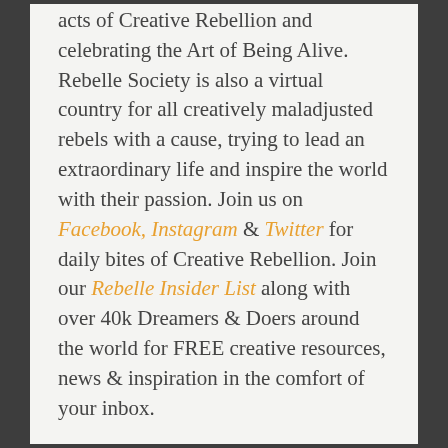acts of Creative Rebellion and celebrating the Art of Being Alive. Rebelle Society is also a virtual country for all creatively maladjusted rebels with a cause, trying to lead an extraordinary life and inspire the world with their passion. Join us on Facebook, Instagram & Twitter for daily bites of Creative Rebellion. Join our Rebelle Insider List along with over 40k Dreamers & Doers around the world for FREE creative resources, news & inspiration in the comfort of your inbox.